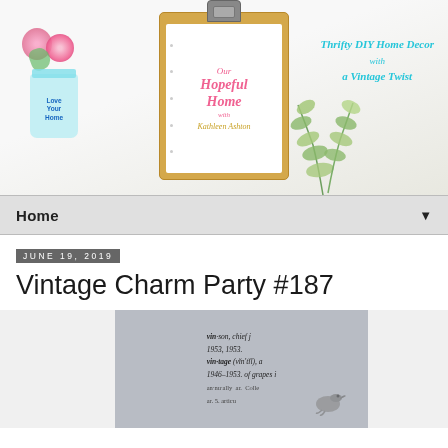[Figure (photo): Blog header banner for 'Our Hopeful Home with Kathleen Ashton' — Thrifty DIY Home Decor with a Vintage Twist. Features a clipboard with pink script text, a blue mason jar with pink flowers on the left, teal script text on the right, and eucalyptus sprigs.]
Home ▼
June 19, 2019
Vintage Charm Party #187
[Figure (photo): Partially cropped dictionary-style image showing 'vintage' definition text with a decorative bird illustration, grey and white tones.]